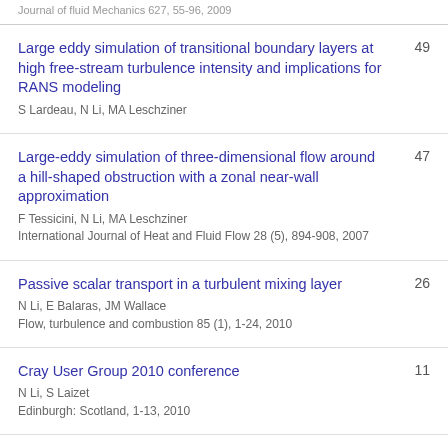Journal of fluid Mechanics 627, 55-96, 2009
Large eddy simulation of transitional boundary layers at high free-stream turbulence intensity and implications for RANS modeling
S Lardeau, N Li, MA Leschziner
49
Large-eddy simulation of three-dimensional flow around a hill-shaped obstruction with a zonal near-wall approximation
F Tessicini, N Li, MA Leschziner
International Journal of Heat and Fluid Flow 28 (5), 894-908, 2007
47
Passive scalar transport in a turbulent mixing layer
N Li, E Balaras, JM Wallace
Flow, turbulence and combustion 85 (1), 1-24, 2010
26
Cray User Group 2010 conference
N Li, S Laizet
Edinburgh: Scotland, 1-13, 2010
11
Large-eddy simulation of separated flow over a
11